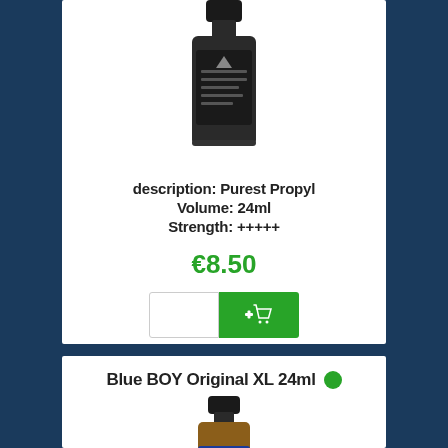[Figure (photo): Product bottle with black label, small dark glass bottle with cap, partially visible at top]
description: Purest Propyl
Volume: 24ml
Strength: +++++
€8.50
[Figure (other): Quantity input field and green add-to-cart button with cart icon]
Blue BOY Original XL 24ml
[Figure (photo): Blue BOY Original XL 24ml product bottle - amber glass bottle with blue label and black cap]